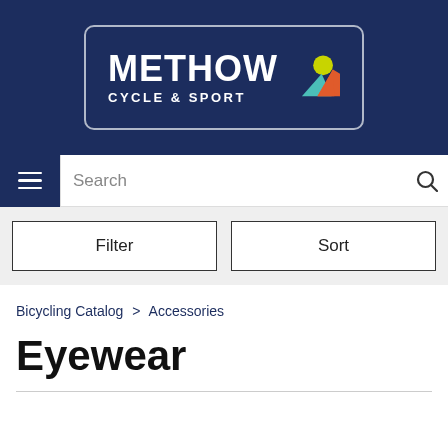[Figure (logo): Methow Cycle & Sport logo — white text on dark navy background inside a rounded rectangle border]
Search bar with hamburger menu icon and search icon
Filter | Sort
Bicycling Catalog > Accessories
Eyewear